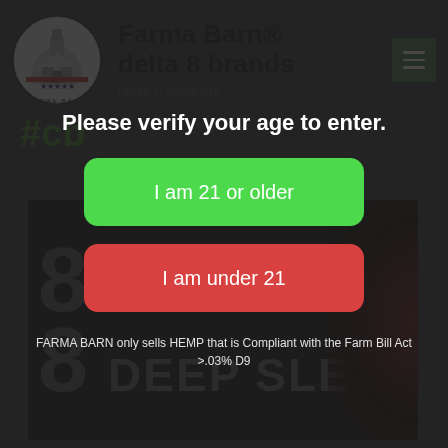[Figure (logo): Farma Barn circular logo with barn and stars]
Farma Barn® delta 8 brands
Delta 8 products
Please verify your age to enter.
I am 21 or older
I am under 21
FARMA BARN only sells HEMP that is Compliant with the Farm Bill Act >.03% D9
[Figure (photo): Dark product advertisement showing '8 hour 8 DEEP SLEEP' text on dark background]